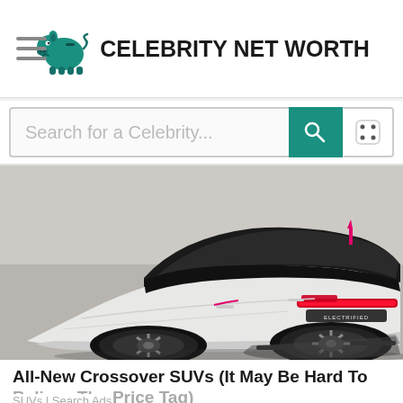Celebrity Net Worth
Search for a Celebrity...
[Figure (photo): Rear three-quarter view of a white Lotus Eletre electric crossover SUV concept car with dark panoramic roof, red tail light strip, and 'ELECTRIFIED' badge, parked on a smooth concrete surface.]
All-New Crossover SUVs (It May Be Hard To Believe The Price Tag)
SUVs | Search Ads